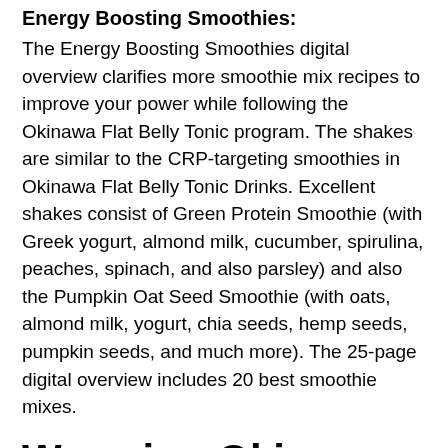Energy Boosting Smoothies:
The Energy Boosting Smoothies digital overview clarifies more smoothie mix recipes to improve your power while following the Okinawa Flat Belly Tonic program. The shakes are similar to the CRP-targeting smoothies in Okinawa Flat Belly Tonic Drinks. Excellent shakes consist of Green Protein Smoothie (with Greek yogurt, almond milk, cucumber, spirulina, peaches, spinach, and also parsley) and also the Pumpkin Oat Seed Smoothie (with oats, almond milk, yogurt, chia seeds, hemp seeds, pumpkin seeds, and much more). The 25-page digital overview includes 20 best smoothie mixes.
Worrying Okinawa Flat Belly Tonic Drink